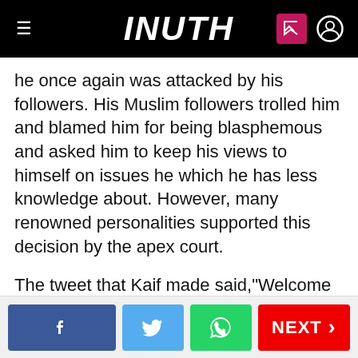INUTH
he once again was attacked by his followers. His Muslim followers trolled him and blamed him for being blasphemous and asked him to keep his views to himself on issues he which he has less knowledge about. However, many renowned personalities supported this decision by the apex court.
The tweet that Kaif made said,"Welcome decision by Supreme Court to declare #TripleTalaq unconstitutional. Will give Muslim women security. Gender justice is much needed."